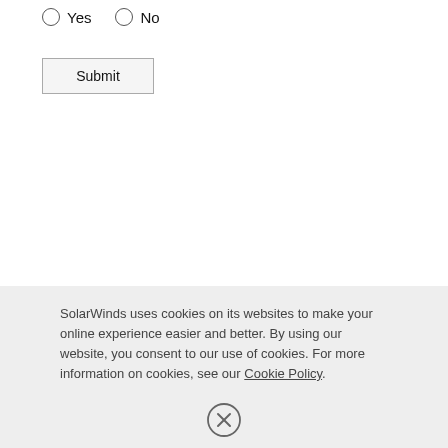Yes
No
Submit
SolarWinds uses cookies on its websites to make your online experience easier and better. By using our website, you consent to our use of cookies. For more information on cookies, see our Cookie Policy.